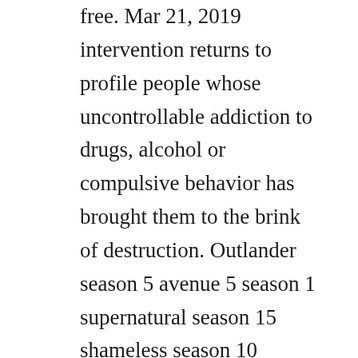free. Mar 21, 2019 intervention returns to profile people whose uncontrollable addiction to drugs, alcohol or compulsive behavior has brought them to the brink of destruction. Outlander season 5 avenue 5 season 1 supernatural season 15 shameless season 10 vikings season 6 hawaii five0 season 10 supergirl season 5 jumanji. This reality television show features all different types of addictions drugs, alcohol, eating disorders, etc and real people living with them on a day to day basis. Watch intervention episodes online season 1 2005 tv guide. Intervention hd